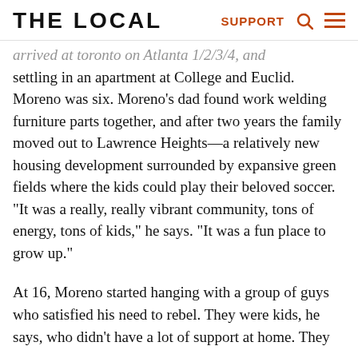THE LOCAL | SUPPORT
arrived at toronto on Atlanta 1/2/3/4, and settling in an apartment at College and Euclid. Moreno was six. Moreno’s dad found work welding furniture parts together, and after two years the family moved out to Lawrence Heights—a relatively new housing development surrounded by expansive green fields where the kids could play their beloved soccer. “It was a really, really vibrant community, tons of energy, tons of kids,” he says. “It was a fun place to grow up.”
At 16, Moreno started hanging with a group of guys who satisfied his need to rebel. They were kids, he says, who didn’t have a lot of support at home. They